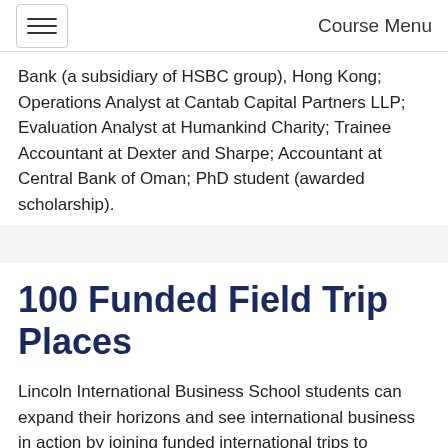Course Menu
Bank (a subsidiary of HSBC group), Hong Kong; Operations Analyst at Cantab Capital Partners LLP; Evaluation Analyst at Humankind Charity; Trainee Accountant at Dexter and Sharpe; Accountant at Central Bank of Oman; PhD student (awarded scholarship).
100 Funded Field Trip Places
Lincoln International Business School students can expand their horizons and see international business in action by joining funded international trips to exciting overseas destinations.
It gives students the opportunity to enhance their global mindset, connect with our global community and partners, and learn from international experts through 100 funded field trip places